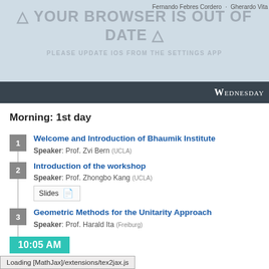YOUR BROWSER IS OUT OF DATE — PLEASE UPDATE IOS FROM THE SETTINGS APP — Wednesday
Morning: 1st day
1. Welcome and Introduction of Bhaumik Institute
Speaker: Prof. Zvi Bern (UCLA)
2. Introduction of the workshop
Speaker: Prof. Zhongbo Kang (UCLA)
Slides
3. Geometric Methods for the Unitarity Approach
Speaker: Prof. Harald Ita (Freiburg)
10:05 AM
Loading [MathJax]/extensions/tex2jax.js